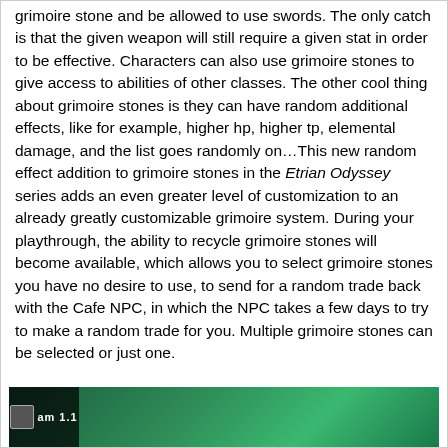grimoire stone and be allowed to use swords. The only catch is that the given weapon will still require a given stat in order to be effective. Characters can also use grimoire stones to give access to abilities of other classes. The other cool thing about grimoire stones is they can have random additional effects, like for example, higher hp, higher tp, elemental damage, and the list goes randomly on…This new random effect addition to grimoire stones in the Etrian Odyssey series adds an even greater level of customization to an already greatly customizable grimoire system. During your playthrough, the ability to recycle grimoire stones will become available, which allows you to select grimoire stones you have no desire to use, to send for a random trade back with the Cafe NPC, in which the NPC takes a few days to try to make a random trade for you. Multiple grimoire stones can be selected or just one.
[Figure (screenshot): A game screenshot showing a teal/green scene with a HUD bar displaying 'am 1.1' text overlay on the left side.]